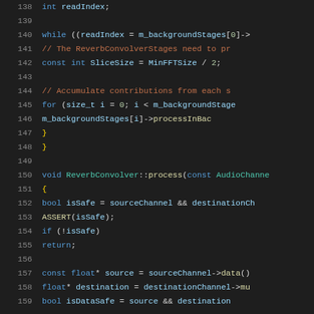[Figure (screenshot): Source code screenshot showing C++ code for ReverbConvolver class, lines 138-159, with syntax highlighting on dark background. Keywords in blue, comments in orange/brown, identifiers in light blue, function names in yellow.]